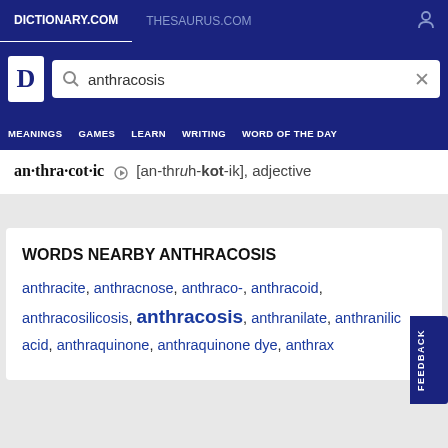DICTIONARY.COM | THESAURUS.COM
[Figure (screenshot): Dictionary.com logo with search bar showing 'anthracosis']
MEANINGS  GAMES  LEARN  WRITING  WORD OF THE DAY
an·thra·cot·ic [an-thruh-kot-ik], adjective
WORDS NEARBY ANTHRACOSIS
anthracite, anthracnose, anthraco-, anthracoid, anthracosilicosis, anthracosis, anthranilate, anthranilic acid, anthraquinone, anthraquinone dye, anthrax